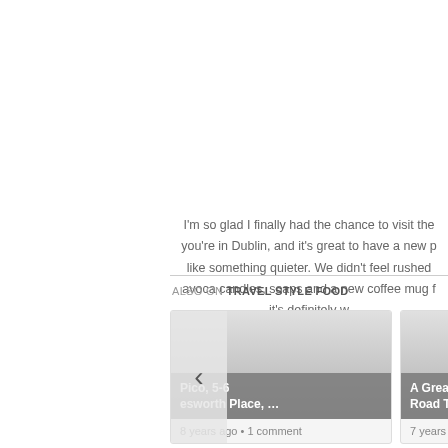I'm so glad I finally had the chance to visit the… you're in Dublin, and it's great to have a new p… like something quieter. We didn't feel rushed… avoca candles, soaps and a new coffee mug f… it's definitely w…
ALSO ON TRAVEL STYLE FOOD
[Figure (screenshot): Blog post card for 'Pico, 5-6 Molesworth Place, …' with '8 years ago • 1 comment' metadata and a left-arrow navigation button overlay]
[Figure (screenshot): Partially visible blog post card for 'A Grea… Road T…' with '7 years ag…' metadata]